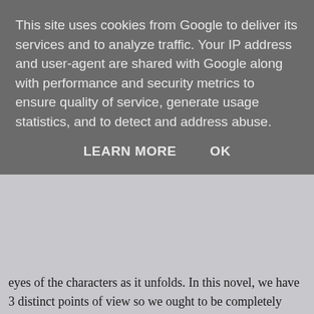This site uses cookies from Google to deliver its services and to analyze traffic. Your IP address and user-agent are shared with Google along with performance and security metrics to ensure quality of service, generate usage statistics, and to detect and address abuse.
LEARN MORE   OK
eyes of the characters as it unfolds. In this novel, we have 3 distinct points of view so we ought to be completely inside the heads of 3 different characters. Since all 3 characters interact closely throughout the story, I'd expect – as the reader – to be fully immersed in exactly how the each POV-character is thinking and feeling in relation to the other 2 characters. But I'm not. It's only in the final pages of the book that I realise that one character has done something pivotal to turn the story on its head. Thinking back, I can see that there is a clue (although it's planted quite far on in the book, which doesn't seem fair), BUT the character doesn't think about this AT ALL throughout the entire novel. Not until the last two pages.
Now, I'm not a psychologist, but I'm pretty sure that if I was